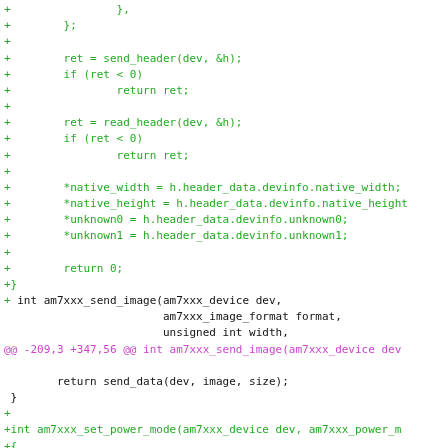[Figure (screenshot): A code diff showing additions (green lines with '+') and context lines (black) in C code for am7xxx library functions. A magenta hunk header line is visible. The code includes send_header, read_header, native_width/height/unknown assignments, return statements, and function signatures for am7xxx_send_image and am7xxx_set_power_mode.]